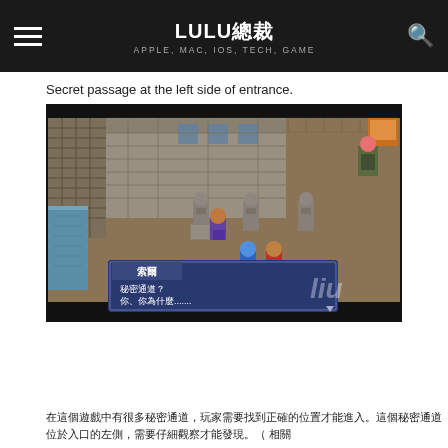LULU總裁 APPLE, MAC, IOS, TECH, GAME
Secret passage at the left side of entrance.
[Figure (screenshot): A retro-style RPG game screenshot showing a top-down view of a castle/palace exterior with stone buildings, statues, and game characters. A dialogue box at the bottom shows a character named 索爾 saying '秘密通道？你、你為什麼.......' with a watermark 'liu' in the lower right.]
（相關